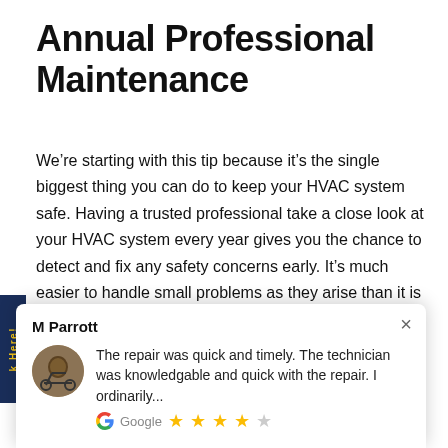Annual Professional Maintenance
We’re starting with this tip because it’s the single biggest thing you can do to keep your HVAC system safe. Having a trusted professional take a close look at your HVAC system every year gives you the chance to detect and fix any safety concerns early. It’s much easier to handle small problems as they arise than it is to let those problems get bigger over time. The untrained eye can’t catch everything. During the annual check, a professional can look for any red flags and bring them to your attention to be remedied.
[Figure (screenshot): Google review popup from M Parrott with 4-star rating. Review text: 'The repair was quick and timely. The technician was knowledgable and quick with the repair. I ordinarily...' Source shown as Google with 4 filled stars and 1 empty star.]